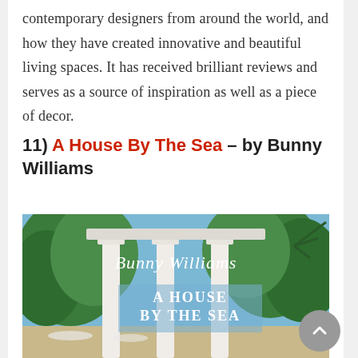contemporary designers from around the world, and how they have created innovative and beautiful living spaces. It has received brilliant reviews and serves as a source of inspiration as well as a piece of decor.
11) A House By The Sea – by Bunny Williams
[Figure (photo): Book cover of 'A House By The Sea' by Bunny Williams, showing a tropical estate with white columns, lush greenery, palm trees, and text overlay reading 'Bunny Williams' at top and 'A HOUSE BY THE SEA' in center.]